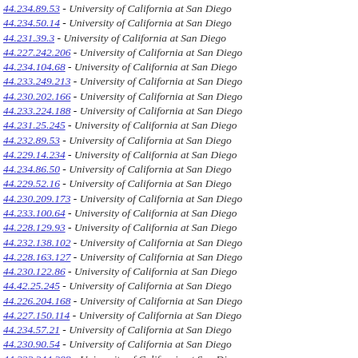44.234.89.53 - University of California at San Diego
44.234.50.14 - University of California at San Diego
44.231.39.3 - University of California at San Diego
44.227.242.206 - University of California at San Diego
44.234.104.68 - University of California at San Diego
44.233.249.213 - University of California at San Diego
44.230.202.166 - University of California at San Diego
44.233.224.188 - University of California at San Diego
44.231.25.245 - University of California at San Diego
44.232.89.53 - University of California at San Diego
44.229.14.234 - University of California at San Diego
44.234.86.50 - University of California at San Diego
44.229.52.16 - University of California at San Diego
44.230.209.173 - University of California at San Diego
44.233.100.64 - University of California at San Diego
44.228.129.93 - University of California at San Diego
44.232.138.102 - University of California at San Diego
44.228.163.127 - University of California at San Diego
44.230.122.86 - University of California at San Diego
44.42.25.245 - University of California at San Diego
44.226.204.168 - University of California at San Diego
44.227.150.114 - University of California at San Diego
44.234.57.21 - University of California at San Diego
44.230.90.54 - University of California at San Diego
44.232.244.208 - University of California at San Diego
44.234.34.254 - University of California at San Diego
44.232.96.60 - University of California at San Diego
44.226.85.49 - University of California at San Diego
44.234.8.228 - University of California at San Diego
44.234.42.6 - University of California at San Diego